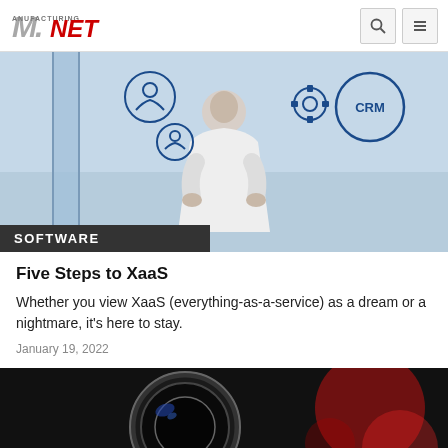Manufacturing.NET
[Figure (photo): Person in white shirt standing in front of a glass wall with business icons including CRM, gears, and people icons]
SOFTWARE
Five Steps to XaaS
Whether you view XaaS (everything-as-a-service) as a dream or a nightmare, it's here to stay.
January 19, 2022
[Figure (photo): Close-up of a camera lens with red bokeh light effects in the background]